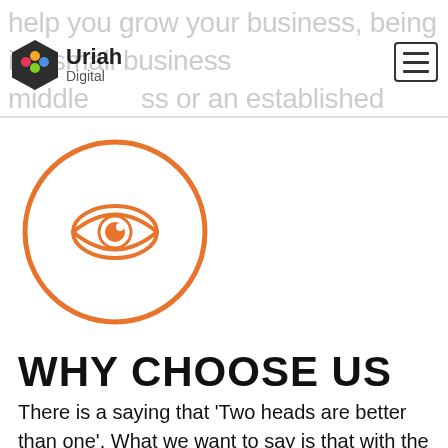Uriah Digital
[Figure (illustration): Orange circle with an eye icon inside, used as a section graphic]
WHY CHOOSE US
There is a saying that 'Two heads are better than one'. What we want to say is that with the driving force of our team spirit achieving greater results is simple to us and we believe you are also looking for a great result. Get in touch